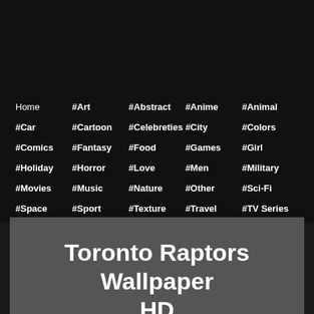Home
#Art
#Abstract
#Anime
#Animal
#Car
#Cartoon
#Celebreties
#City
#Colors
#Comics
#Fantasy
#Food
#Games
#Girl
#Holiday
#Horror
#Love
#Men
#Military
#Movies
#Music
#Nature
#Other
#Sci-Fi
#Space
#Sport
#Texture
#Travel
#TV Series
Toronto Raptors Wallpaper HD